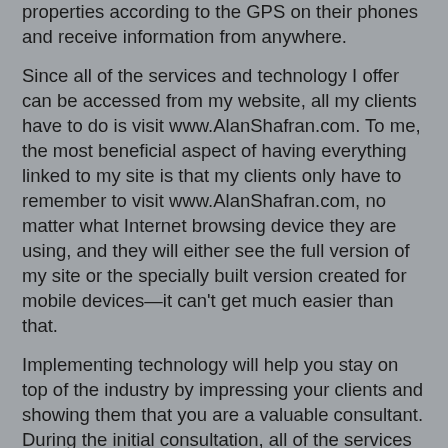properties according to the GPS on their phones and receive information from anywhere.
Since all of the services and technology I offer can be accessed from my website, all my clients have to do is visit www.AlanShafran.com. To me, the most beneficial aspect of having everything linked to my site is that my clients only have to remember to visit www.AlanShafran.com, no matter what Internet browsing device they are using, and they will either see the full version of my site or the specially built version created for mobile devices—it can't get much easier than that.
Implementing technology will help you stay on top of the industry by impressing your clients and showing them that you are a valuable consultant. During the initial consultation, all of the services and technology you offer should be carefully explained, as well as the potential impact of your expertise on what is often one of the most significant decisions of a person's life. If you perform your consultation properly, and express that showing a home is just a facet of the entire process, the buyer will cut you off and ask where